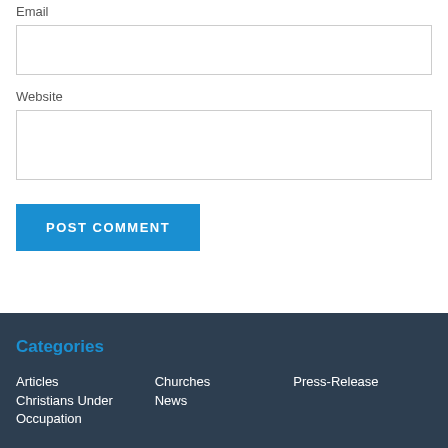Email
Website
POST COMMENT
Categories
Articles
Christians Under Occupation
Churches
News
Press-Release